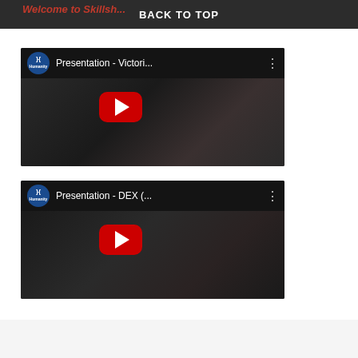Welcome to Skillsh... BACK TO TOP
[Figure (screenshot): YouTube video thumbnail for 'Presentation - Victori...' with channel icon, three-dot menu, and red play button over dark conference room footage]
[Figure (screenshot): YouTube video thumbnail for 'Presentation - DEX (...' with channel icon, three-dot menu, and red play button over dark conference room footage]
[Figure (screenshot): Footer bar with logos partially visible at bottom of page]